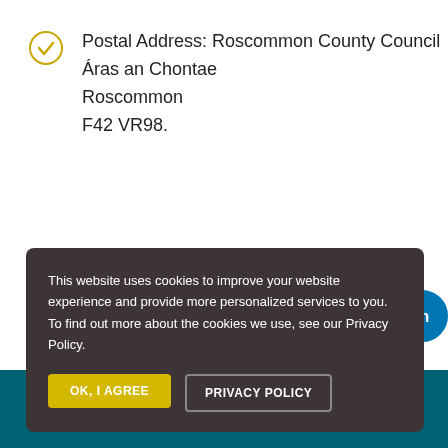Postal Address: Roscommon County Council
Áras an Chontae
Roscommon
F42 VR98.
This website uses cookies to improve your website experience and provide more personalized services to you. To find out more about the cookies we use, see our Privacy Policy.
OK, I AGREE
PRIVACY POLICY
© 2019 Roscommon County Council | All Rights Reserved | Accessibility Statement | Privacy Statement | Cookie Statement